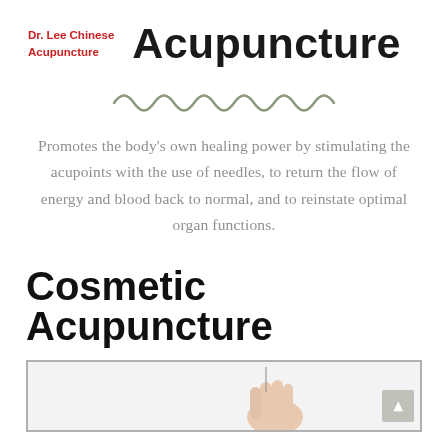Dr. Lee Chinese Acupuncture
Acupuncture
[Figure (illustration): Decorative wavy squiggle line divider in olive/sage green color]
Promotes the body's own healing power by stimulating the acupoints with the use of needles, to return the flow of energy and blood back to normal, and to reinstate optimal organ functions.
Cosmetic Acupuncture
[Figure (photo): Photo of a hand with acupuncture needles, framed with a grey border, partially visible at bottom of page. A scroll-up button is visible in the bottom right corner.]